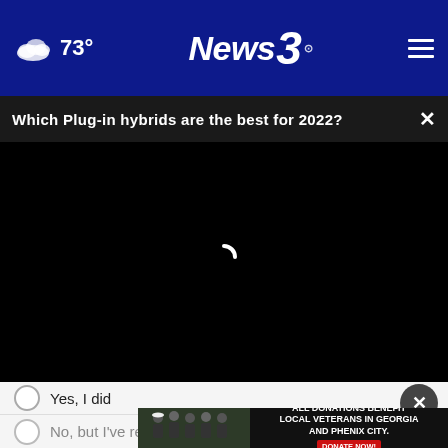73° News3
Which Plug-in hybrids are the best for 2022?
[Figure (screenshot): Black video player area with loading spinner]
Yes, I did
No, but I've read about it
[Figure (photo): Ad banner: group of people in black shirts with text ALL DONATIONS BENEFIT LOCAL VETERANS IN GEORGIA AND PHENIX CITY. DONATE NOW!]